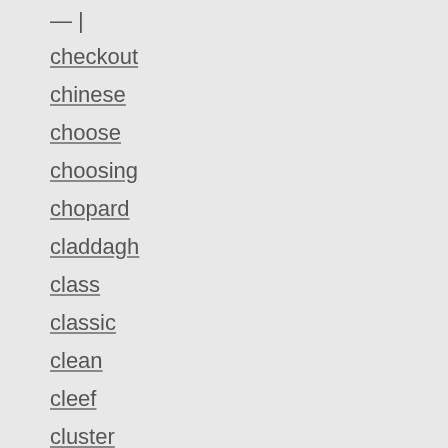checkout
chinese
choose
choosing
chopard
claddagh
class
classic
clean
cleef
cluster
clustercocktail